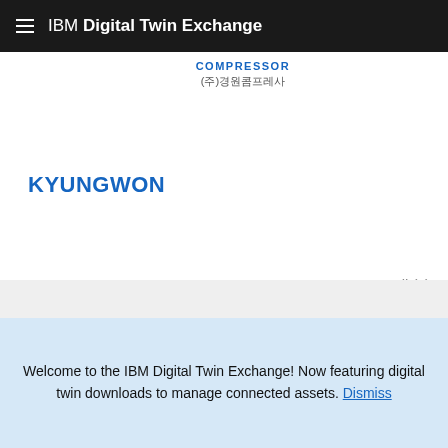IBM Digital Twin Exchange
[Figure (logo): COMPRESSOR logo with Korean text (주)경원콤프레사]
KYUNGWON
0.00 credit(s)
[Figure (illustration): Heart (favorite) icon outline]
Add to cart
Welcome to the IBM Digital Twin Exchange! Now featuring digital twin downloads to manage connected assets. Dismiss